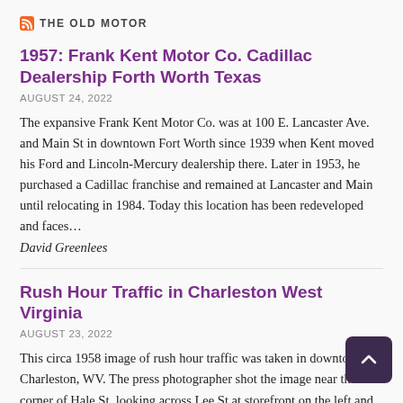THE OLD MOTOR
1957: Frank Kent Motor Co. Cadillac Dealership Forth Worth Texas
AUGUST 24, 2022
The expansive Frank Kent Motor Co. was at 100 E. Lancaster Ave. and Main St in downtown Fort Worth since 1939 when Kent moved his Ford and Lincoln-Mercury dealership there. Later in 1953, he purchased a Cadillac franchise and remained at Lancaster and Main until relocating in 1984. Today this location has been redeveloped and faces…
David Greenlees
Rush Hour Traffic in Charleston West Virginia
AUGUST 23, 2022
This circa 1958 image of rush hour traffic was taken in downtown Charleston, WV. The press photographer shot the image near the corner of Hale St, looking across Lee St at storefront on the left and the Bell Telephone building on far-right. There is a wide variety of 1950s vehicles on the